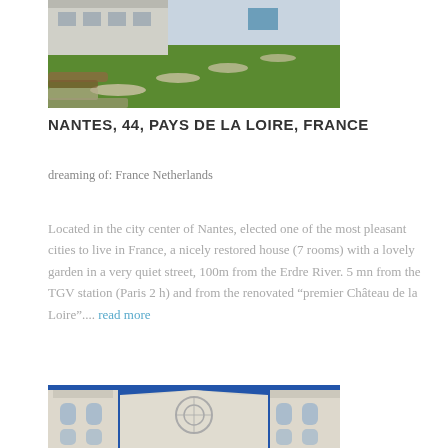[Figure (photo): Outdoor garden with green grass, stone path stepping stones, and a building in the background]
NANTES, 44, PAYS DE LA LOIRE, FRANCE
dreaming of: France Netherlands
Located in the city center of Nantes, elected one of the most pleasant cities to live in France, a nicely restored house (7 rooms) with a lovely garden in a very quiet street, 100m from the Erdre River. 5 mn from the TGV station (Paris 2 h) and from the renovated “premier Château de la Loire”.... read more
[Figure (photo): Gothic church towers with white stone architecture against a blue sky]